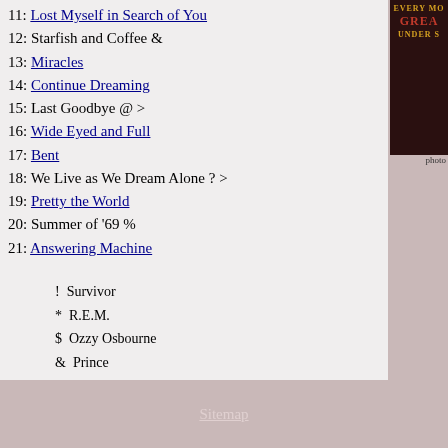11: Lost Myself in Search of You
12: Starfish and Coffee &
13: Miracles
14: Continue Dreaming
15: Last Goodbye @ >
16: Wide Eyed and Full
17: Bent
18: We Live as We Dream Alone ? >
19: Pretty the World
20: Summer of '69 %
21: Answering Machine
! Survivor
* R.E.M.
$ Ozzy Osbourne
& Prince
@ Jeff Buckley
? Gang of Four
% Bryan Adams
Show Reviews:
No reviews exist for this show. Be the first to write a review!
Sitemap